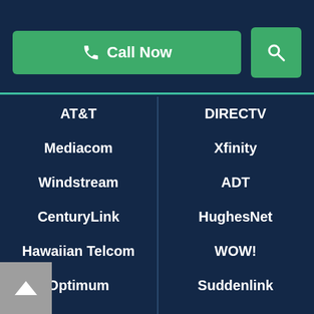[Figure (screenshot): Call Now button with phone icon in green, and a green search icon button to the right]
AT&T
DIRECTV
Mediacom
Xfinity
Windstream
ADT
CenturyLink
HughesNet
Hawaiian Telcom
WOW!
Optimum
Suddenlink
Metronet
TDS
Rise Broadband
Smithville